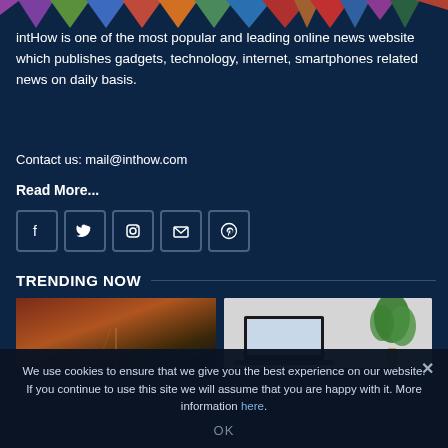[Figure (logo): Colorful triangular banner shapes on dark blue background — intHow website logo/header]
intHow is one of the most popular and leading online news website which publishes gadgets, technology, internet, smartphones related news on daily basis.
Contact us: mail@inthow.com
Read More...
[Figure (infographic): Row of social media icon buttons: Facebook, Twitter, Instagram, Mail/Envelope, Pinterest]
TRENDING NOW
[Figure (photo): Left trending image: dark warm-toned road/highway scene]
[Figure (photo): Right trending image: light gray background with laptop and green plant]
We use cookies to ensure that we give you the best experience on our website. If you continue to use this site we will assume that you are happy with it. More information here.